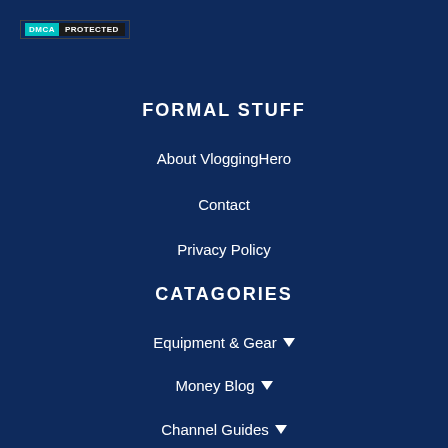[Figure (logo): DMCA Protected badge with cyan DMCA label and dark PROTECTED label]
FORMAL STUFF
About VloggingHero
Contact
Privacy Policy
CATAGORIES
Equipment & Gear ▼
Money Blog ▼
Channel Guides ▼